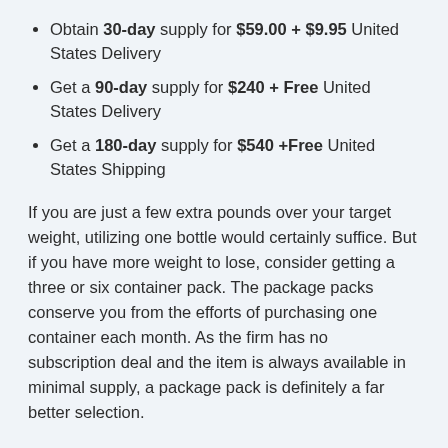Obtain 30-day supply for $59.00 + $9.95 United States Delivery
Get a 90-day supply for $240 + Free United States Delivery
Get a 180-day supply for $540 +Free United States Shipping
If you are just a few extra pounds over your target weight, utilizing one bottle would certainly suffice. But if you have more weight to lose, consider getting a three or six container pack. The package packs conserve you from the efforts of purchasing one container each month. As the firm has no subscription deal and the item is always available in minimal supply, a package pack is definitely a far better selection.